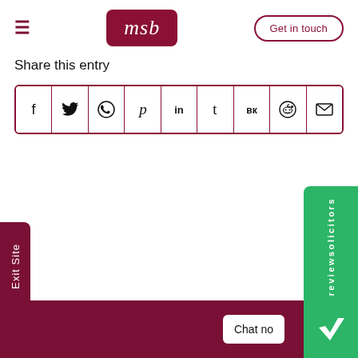[Figure (logo): MSB Solicitors logo in dark red rounded rectangle with white italic text 'msb']
Share this entry
[Figure (infographic): Social media sharing icons row: Facebook (f), Twitter (bird), WhatsApp, Pinterest (p), LinkedIn (in), Tumblr (t), VK (vk), Reddit, Email (envelope). Bordered in dark red.]
[Figure (infographic): Exit Site button on left side, reviewsolicitors badge on right, dark red footer bar with Chat now button]
Exit Site
reviewsolicitors
Chat no